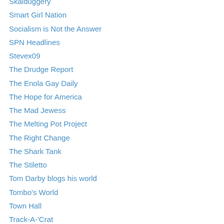Skalduggery
Smart Girl Nation
Socialism is Not the Answer
SPN Headlines
Stevex09
The Drudge Report
The Enola Gay Daily
The Hope for America
The Mad Jewess
The Melting Pot Project
The Right Change
The Shark Tank
The Stiletto
Tom Darby blogs his world
Tombo's World
Town Hall
Track-A-'Crat
Truth for America's Youth
Village of the Banned
Voting American